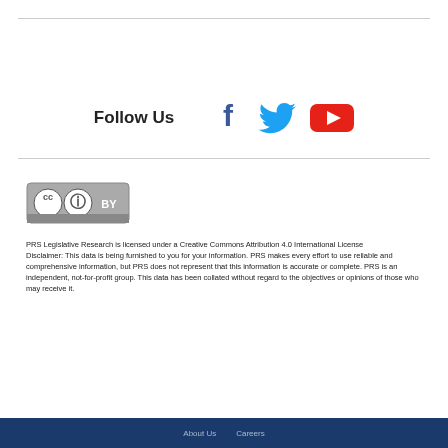Follow Us
[Figure (logo): Social media icons: Facebook (f), Twitter (bird), YouTube (play button in red)]
[Figure (logo): Creative Commons Attribution (CC BY) license badge]
PRS Legislative Research is licensed under a Creative Commons Attribution 4.0 International License
Disclaimer: This data is being furnished to you for your information. PRS makes every effort to use reliable and comprehensive information, but PRS does not represent that this information is accurate or complete. PRS is an independent, not-for-profit group. This data has been collated without regard to the objectives or opinions of those who may receive it.
About Us   Careers